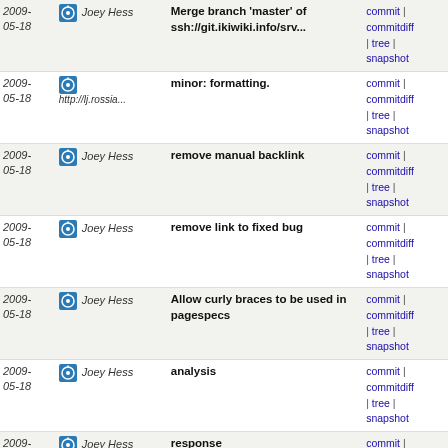| Date | Author | Message | Links |
| --- | --- | --- | --- |
| 2009-05-18 | Joey Hess | Merge branch 'master' of ssh://git.ikiwiki.info/srv... | commit | commitdiff | tree | snapshot |
| 2009-05-18 | http://lj.rossia... | minor: formatting. | commit | commitdiff | tree | snapshot |
| 2009-05-18 | Joey Hess | remove manual backlink | commit | commitdiff | tree | snapshot |
| 2009-05-18 | Joey Hess | remove link to fixed bug | commit | commitdiff | tree | snapshot |
| 2009-05-18 | Joey Hess | Allow curly braces to be used in pagespecs | commit | commitdiff | tree | snapshot |
| 2009-05-18 | Joey Hess | analysis | commit | commitdiff | tree | snapshot |
| 2009-05-18 | Joey Hess | response | commit | commitdiff | tree | snapshot |
| 2009-05-18 | simonraven | (no commit message) | commit | commitdiff | tree | snapshot |
| 2009-05-18 | Jon Dowland | s/feed/feeds/. Whoops. | commit | commitdiff | tree | snapshot |
| 2009-05-18 | Jon Dowland | archive=no for test inlines | commit | commitdiff | tree | snapshot |